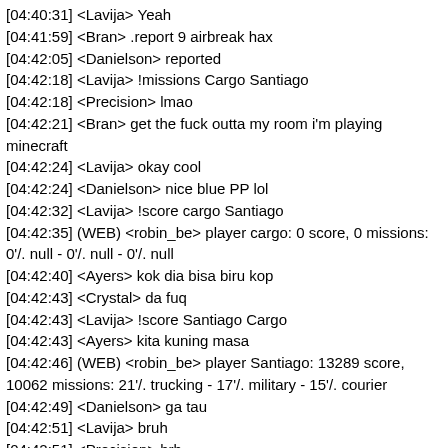[04:40:31] <Lavija> Yeah
[04:41:59] <Bran> .report 9 airbreak hax
[04:42:05] <Danielson> reported
[04:42:18] <Lavija> !missions Cargo Santiago
[04:42:18] <Precision> lmao
[04:42:21] <Bran> get the fuck outta my room i'm playing minecraft
[04:42:24] <Lavija> okay cool
[04:42:24] <Danielson> nice blue PP lol
[04:42:32] <Lavija> !score cargo Santiago
[04:42:35] (WEB) <robin_be> player cargo: 0 score, 0 missions: 0'/. null - 0'/. null - 0'/. null
[04:42:40] <Ayers> kok dia bisa biru kop
[04:42:43] <Crystal> da fuq
[04:42:43] <Lavija> !score Santiago Cargo
[04:42:43] <Ayers> kita kuning masa
[04:42:46] (WEB) <robin_be> player Santiago: 13289 score, 10062 missions: 21'/. trucking - 17'/. military - 15'/. courier
[04:42:49] <Danielson> ga tau
[04:42:51] <Lavija> bruh
[04:42:51] <Precision> brb
[04:42:54] <-- Precision disconnected from the server
[04:42:57] <Lavija> !cmds
[04:43:00] (WEB) <robin_be> - ping 8ball player score cash groups assets cars houses licenses roll (r)interest rank missions
[04:43:00] <Lavija> ...